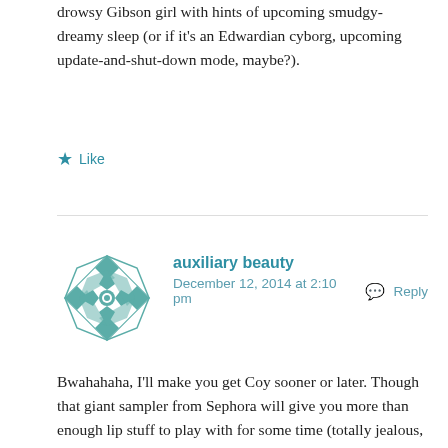drowsy Gibson girl with hints of upcoming smudgy-dreamy sleep (or if it's an Edwardian cyborg, upcoming update-and-shut-down mode, maybe?).
★ Like
[Figure (logo): Teal geometric mandala/snowflake avatar for user 'auxiliary beauty']
auxiliary beauty
December 12, 2014 at 2:10 pm   Reply
Bwahahaha, I'll make you get Coy sooner or later. Though that giant sampler from Sephora will give you more than enough lip stuff to play with for some time (totally jealous, btw). I agree that one of the great things about Marsala is its versatility across multiple skintones. Radiant Orchid was pretty, but sort of gaudy; it's nice to have a more understated color of the year. (I say, as if this